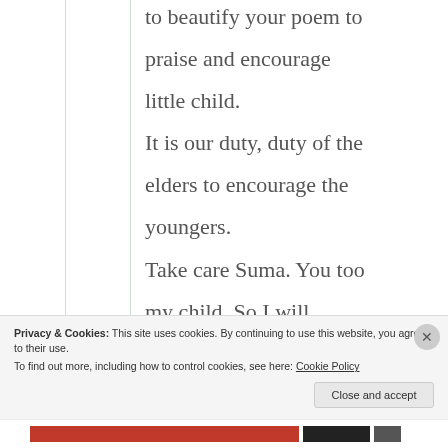to beautify your poem to praise and encourage little child. It is our duty, duty of the elders to encourage the youngers. Take care Suma. You too my child. So I will always encourage you. Appreciate you. And you deserve it.
Privacy & Cookies: This site uses cookies. By continuing to use this website, you agree to their use. To find out more, including how to control cookies, see here: Cookie Policy